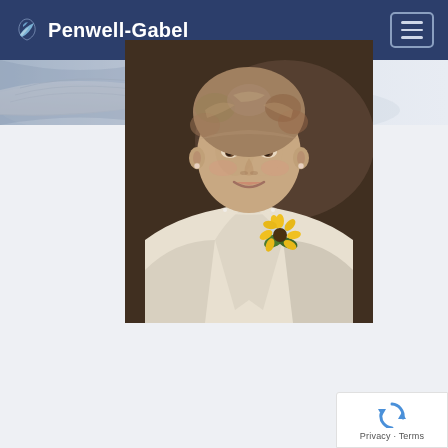Penwell-Gabel
[Figure (photo): Decorative banner showing an open book/Bible with soft blue and grey tones]
[Figure (photo): Portrait photo of an elderly woman with short curly grey-brown hair, wearing a white blazer with a yellow sunflower corsage and pearl necklace, smiling warmly indoors]
[Figure (other): Google reCAPTCHA badge with blue circular arrow icon and Privacy - Terms text]